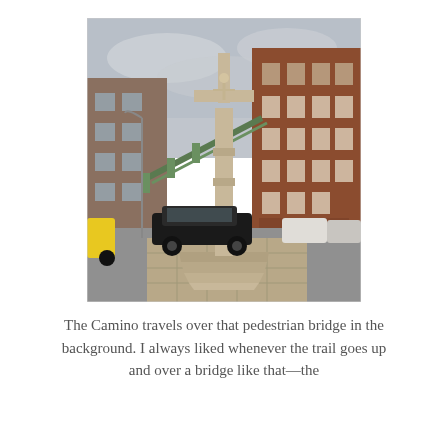[Figure (photo): A stone cross monument on a tiered octagonal base in an urban street setting. The cross features a crucifix at the top of a tall column. In the background is a pedestrian bridge with green railings going up at an angle, surrounded by brick apartment buildings. A black car is parked near the monument, and a yellow car is visible on the left. Parked cars line the street on the right.]
The Camino travels over that pedestrian bridge in the background. I always liked whenever the trail goes up and over a bridge like that—the